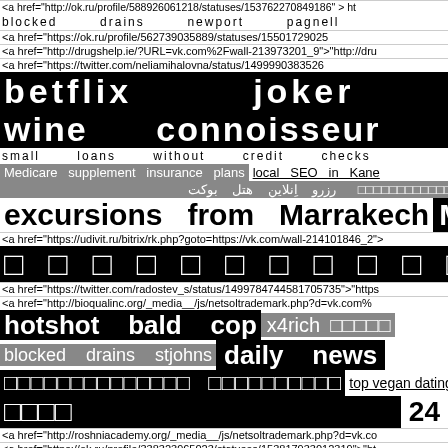<a href="http://ok.ru/profile/588926061218/statuses/153762270849186"> ht
blocked   drains   newport   pagnell
<a href="https://ok.ru/profile/562739035889/statuses/155017290...
<a href="http://drugshelp.ie/?URL=vk.com%2Fwall-213973201_9">"http://dru
<a href="https://twitter.com/neliamihalovna/status/14999903835264...
betflix   joker   □□□□□□□□50
wine   connoisseur   singapore
small   loans   without   credit   checks
Medicare supplement insurance plans   local SEO in Kane
□□□□□□□□□□□□   هتل بوکت اِنلاین   رزرو
excursions from Marrakech   Minimalism
<a href="https://udivit.ru/bitrix/rk.php?goto=https://vk.com/wall-214101846_2"...
□ □ □ □ □ □ □ □ □ □ □ □ □ □ □ □
<a href="https://twitter.com/radostev_s/status/1499784744581705735">"https
<a href="http://bioqualinc.org/_media_/js/netsoltrademark.php?d=vk.com%...
hotshot bald cop   x4rich   □□□□□
blocked drains stjohns   daily news
□□□□□□□□□□□□□□   □□□□□□□□□□   top vegan dating sites
□□□□   24
<a href="http://roshniacademy.org/_media_/js/netsoltrademark.php?d=vk.co
<a href="https://ok.ru/profile/338323965023/statuses/153817933012319">"ht
<a href="http://appliedmathchallenge.org/_media_/js/netsoltrademark.php?
blocked   drains   redhill